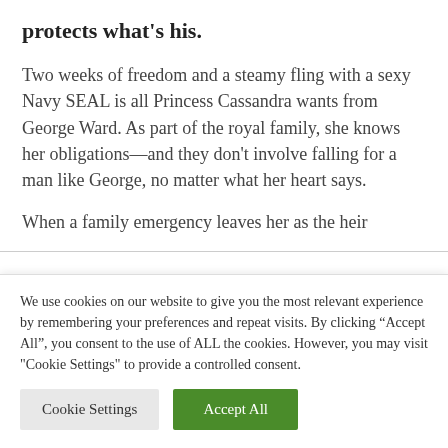protects what's his.
Two weeks of freedom and a steamy fling with a sexy Navy SEAL is all Princess Cassandra wants from George Ward. As part of the royal family, she knows her obligations—and they don't involve falling for a man like George, no matter what her heart says.
When a family emergency leaves her as the heir
We use cookies on our website to give you the most relevant experience by remembering your preferences and repeat visits. By clicking “Accept All”, you consent to the use of ALL the cookies. However, you may visit "Cookie Settings" to provide a controlled consent.